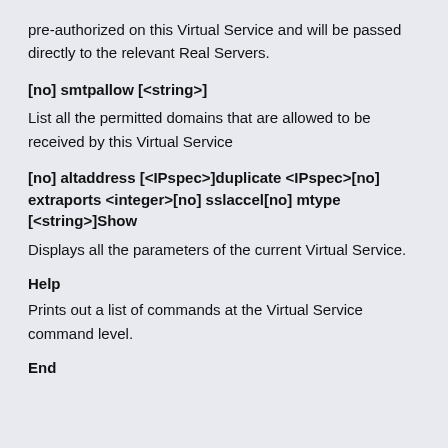pre-authorized on this Virtual Service and will be passed directly to the relevant Real Servers.
[no] smtpallow [<string>]
List all the permitted domains that are allowed to be received by this Virtual Service
[no] altaddress [<IPspec>]duplicate <IPspec>[no] extraports <integer>[no] sslaccel[no] mtype [<string>]Show
Displays all the parameters of the current Virtual Service.
Help
Prints out a list of commands at the Virtual Service command level.
End